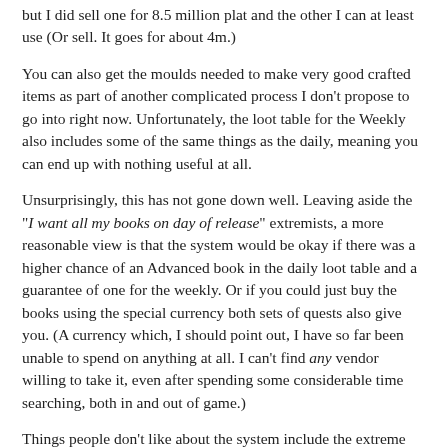but I did sell one for 8.5 million plat and the other I can at least use (Or sell. It goes for about 4m.)
You can also get the moulds needed to make very good crafted items as part of another complicated process I don't propose to go into right now. Unfortunately, the loot table for the Weekly also includes some of the same things as the daily, meaning you can end up with nothing useful at all.
Unsurprisingly, this has not gone down well. Leaving aside the "I want all my books on day of release" extremists, a more reasonable view is that the system would be okay if there was a higher chance of an Advanced book in the daily loot table and a guarantee of one for the weekly. Or if you could just buy the books using the special currency both sets of quests also give you. (A currency which, I should point out, I have so far been unable to spend on anything at all. I can't find any vendor willing to take it, even after spending some considerable time searching, both in and out of game.)
Things people don't like about the system include the extreme reliance on randomisation, the irrelevance of most of the rewards and the useleness of the quest materials